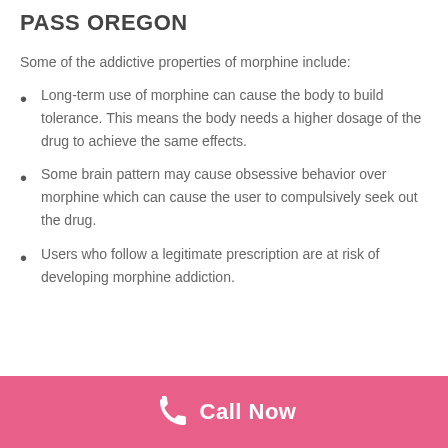PASS OREGON
Some of the addictive properties of morphine include:
Long-term use of morphine can cause the body to build tolerance. This means the body needs a higher dosage of the drug to achieve the same effects.
Some brain pattern may cause obsessive behavior over morphine which can cause the user to compulsively seek out the drug.
Users who follow a legitimate prescription are at risk of developing morphine addiction.
Call Now